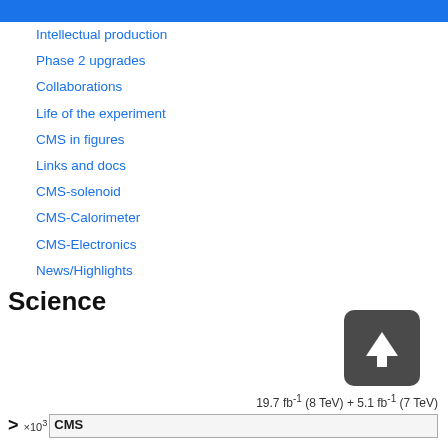Science
Intellectual production
Phase 2 upgrades
Collaborations
Life of the experiment
CMS in figures
Links and docs
CMS-solenoid
CMS-Calorimeter
CMS-Electronics
News/Highlights
Science
[Figure (continuous-plot): Partial view of a CMS physics plot showing x10^3 on y-axis with label '> ' and annotation '19.7 fb^-1 (8 TeV) + 5.1 fb^-1 (7 TeV)']